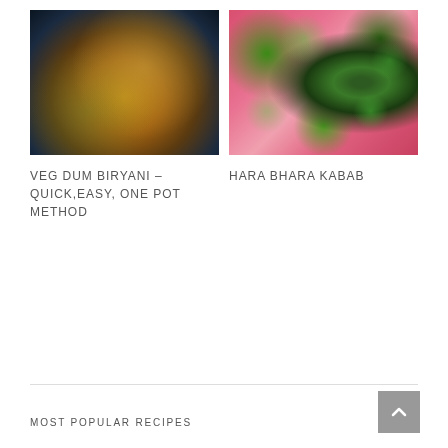[Figure (photo): Veg Dum Biryani served in a dark wooden bowl on an ornate plate, with colorful rice, vegetables and garnishes visible, blue background]
[Figure (photo): Hara Bhara Kabab — round dark green patties with cashew garnish on a pink plate with green peas scattered around]
VEG DUM BIRYANI – QUICK,EASY, ONE POT METHOD
HARA BHARA KABAB
MOST POPULAR RECIPES